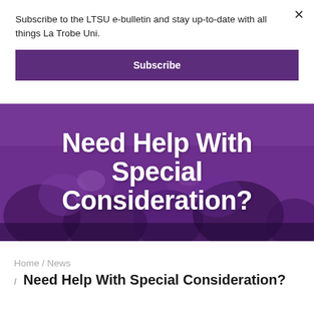Subscribe to the LTSU e-bulletin and stay up-to-date with all things La Trobe Uni.
Subscribe
[Figure (photo): Purple-tinted crowd photo with large white bold text overlay reading 'Need Help With Special Consideration?']
Home / News / Need Help With Special Consideration?
Need Help With Special Consideration?